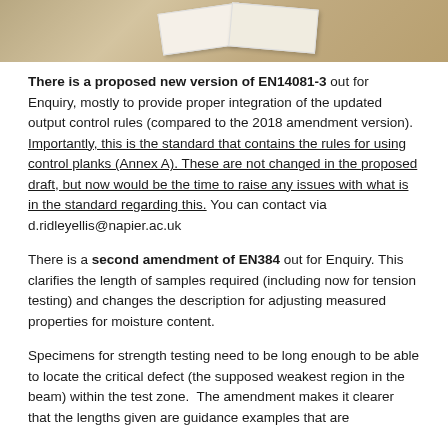[Figure (photo): Photo of documents/papers on a wooden surface]
There is a proposed new version of EN14081-3 out for Enquiry, mostly to provide proper integration of the updated output control rules (compared to the 2018 amendment version). Importantly, this is the standard that contains the rules for using control planks (Annex A). These are not changed in the proposed draft, but now would be the time to raise any issues with what is in the standard regarding this. You can contact via d.ridleyellis@napier.ac.uk
There is a second amendment of EN384 out for Enquiry. This clarifies the length of samples required (including now for tension testing) and changes the description for adjusting measured properties for moisture content.
Specimens for strength testing need to be long enough to be able to locate the critical defect (the supposed weakest region in the beam) within the test zone. The amendment makes it clearer that the lengths given are guidance examples that are